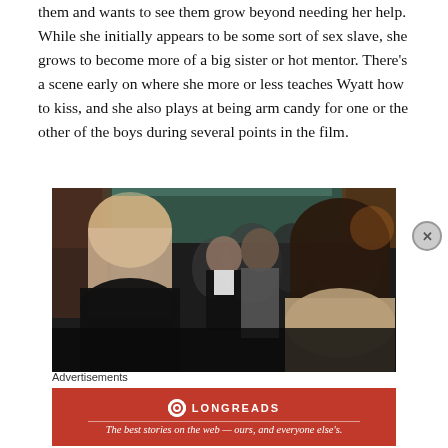them and wants to see them grow beyond needing her help. While she initially appears to be some sort of sex slave, she grows to become more of a big sister or hot mentor. There’s a scene early on where she more or less teaches Wyatt how to kiss, and she also plays at being arm candy for one or the other of the boys during several points in the film.
[Figure (photo): Movie still showing two women from behind (one with blonde hair, one with dark hair) facing two young men in a crowded indoor setting with blurred background crowd]
Advertisements
[Figure (logo): Longreads advertisement banner in red: circle logo, LONGREADS brand name, tagline 'The best stories on the web — ours, and everyone else’s.']